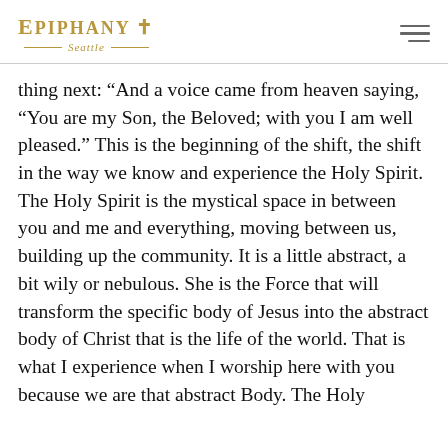Epiphany Seattle
thing next: “And a voice came from heaven saying, “You are my Son, the Beloved; with you I am well pleased.” This is the beginning of the shift, the shift in the way we know and experience the Holy Spirit. The Holy Spirit is the mystical space in between you and me and everything, moving between us, building up the community. It is a little abstract, a bit wily or nebulous. She is the Force that will transform the specific body of Jesus into the abstract body of Christ that is the life of the world. That is what I experience when I worship here with you because we are that abstract Body. The Holy